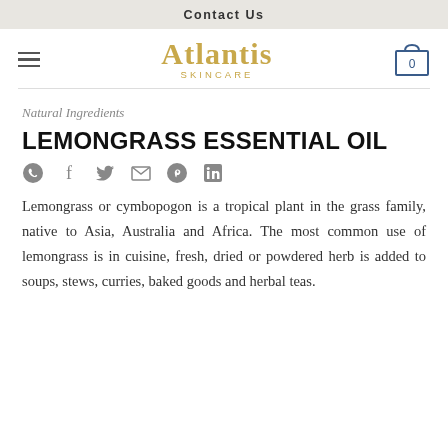Contact Us
[Figure (logo): Atlantis Skincare logo in gold text with hamburger menu icon and shopping cart icon with 0]
Natural Ingredients
LEMONGRASS ESSENTIAL OIL
[Figure (infographic): Social share icons: WhatsApp, Facebook, Twitter, Email, Pinterest, LinkedIn]
Lemongrass or cymbopogon is a tropical plant in the grass family, native to Asia, Australia and Africa. The most common use of lemongrass is in cuisine, fresh, dried or powdered herb is added to soups, stews, curries, baked goods and herbal teas.